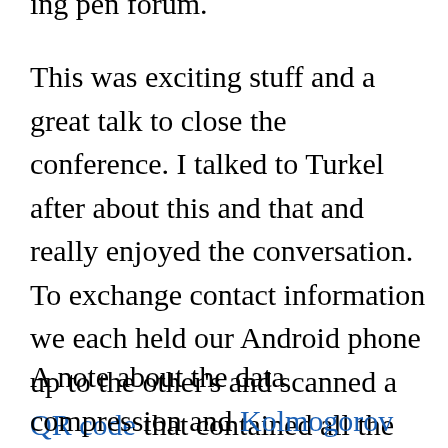ing pen forum.
This was exciting stuff and a great talk to close the conference. I talked to Turkel after about this and that and really enjoyed the conversation. To exchange contact information we each held our Android phone up to the other's and scanned a QR code that contained all the details.
A note about the data compression and Kolmogorov complexity stuff mentioned below. I asked him about this